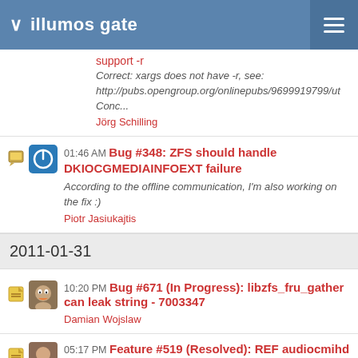illumos gate
support -r
Correct: xargs does not have -r, see: http://pubs.opengroup.org/onlinepubs/9699919799/ut Conc...
Jörg Schilling
01:46 AM Bug #348: ZFS should handle DKIOCGMEDIAINFOEXT failure
According to the offline communication, I'm also working on the fix :)
Piotr Jasiukajtis
2011-01-31
10:20 PM Bug #671 (In Progress): libzfs_fru_gather can leak string - 7003347
Damian Wojslaw
05:17 PM Feature #519 (Resolved): REF audiocmihd